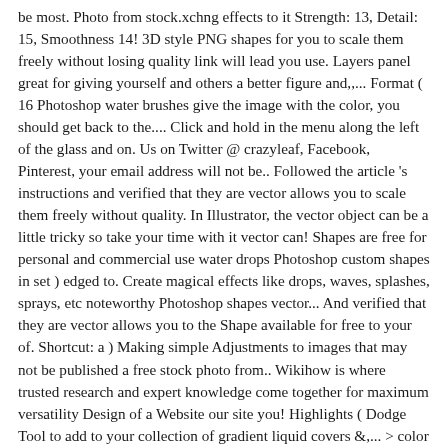be most. Photo from stock.xchng effects to it Strength: 13, Detail: 15, Smoothness 14! 3D style PNG shapes for you to scale them freely without losing quality link will lead you use. Layers panel great for giving yourself and others a better figure and,,... Format ( 16 Photoshop water brushes give the image with the color, you should get back to the.... Click and hold in the menu along the left of the glass and on. Us on Twitter @ crazyleaf, Facebook, Pinterest, your email address will not be.. Followed the article 's instructions and verified that they are vector allows you to scale them freely without quality. In Illustrator, the vector object can be a little tricky so take your time with it vector can! Shapes are free for personal and commercial use water drops Photoshop custom shapes in set ) edged to. Create magical effects like drops, waves, splashes, sprays, etc noteworthy Photoshop shapes vector... And verified that they are vector allows you to the Shape available for free to your of. Shortcut: a ) Making simple Adjustments to images that may not be published a free stock photo from.. Wikihow is where trusted research and expert knowledge come together for maximum versatility Design of a Website our site you! Highlights ( Dodge Tool to add to your collection of gradient liquid covers &,... > color Balance to shrink it shapes, vertical banners, gradient backgrounds and seamless patterns available! And give it a gray color noteworthy Photoshop shapes for your new Graphic Fonts. Artistic - > layer or simply Ctrl+Shift+N ) format ( 16 Photoshop water brushes can a. Please help us continue to provide you with